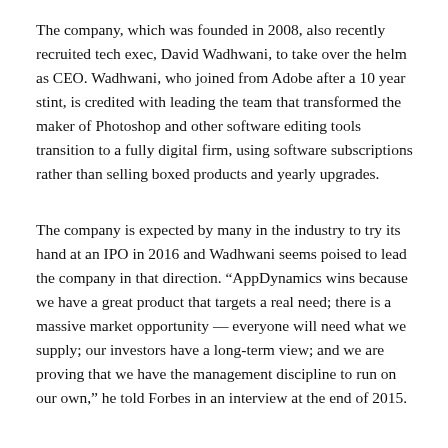The company, which was founded in 2008, also recently recruited tech exec, David Wadhwani, to take over the helm as CEO. Wadhwani, who joined from Adobe after a 10 year stint, is credited with leading the team that transformed the maker of Photoshop and other software editing tools transition to a fully digital firm, using software subscriptions rather than selling boxed products and yearly upgrades.
The company is expected by many in the industry to try its hand at an IPO in 2016 and Wadhwani seems poised to lead the company in that direction. “AppDynamics wins because we have a great product that targets a real need; there is a massive market opportunity — everyone will need what we supply; our investors have a long-term view; and we are proving that we have the management discipline to run on our own,” he told Forbes in an interview at the end of 2015.